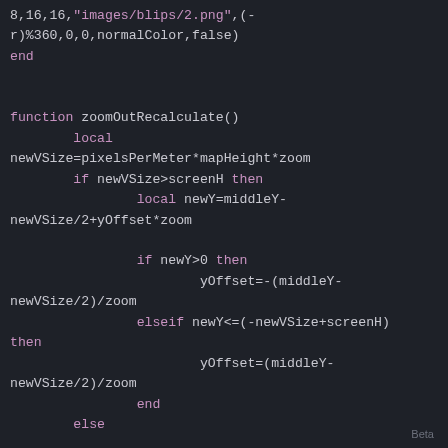8,16,16,"images/blips/2.png",(-r)%360,0,0,normalColor,false)
end

function zoomOutRecalculate()
        local newVSize=pixelsPerMeter*mapHeight*zoom
        if newVSize>screenH then
                local newY=middleY-newVSize/2+yOffset*zoom

                if newY>0 then
                        yOffset=-(middleY-newVSize/2)/zoom
                elseif newY<=(-newVSize+screenH) then
                        yOffset=(middleY-newVSize/2)/zoom
                end
        else

                yOffset=0
        end
Beta